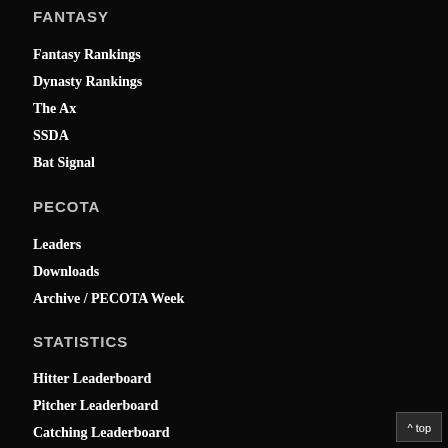FANTASY
Fantasy Rankings
Dynasty Rankings
The Ax
SSDA
Bat Signal
PECOTA
Leaders
Downloads
Archive / PECOTA Week
STATISTICS
Hitter Leaderboard
Pitcher Leaderboard
Catching Leaderboard
Team Leaderboard
^ top